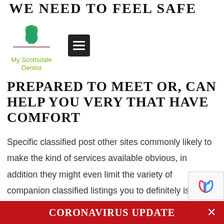WE NEED TO FEEL SAFE
[Figure (logo): My Scottsdale Dentist logo with green lotus flower icon and green text, plus a hamburger menu button]
PREPARED TO MEET OR, CAN HELP YOU VERY THAT HAVE COMFORT
Specific classified post other sites commonly likely to make the kind of services available obvious, in addition they might even limit the variety of companion classified listings you to definitely is released to their webpage.
[Figure (logo): reCAPTCHA badge partially visible in bottom right corner]
CORONAVIRUS UPDATE ×